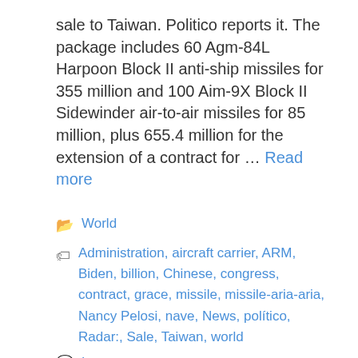sale to Taiwan. Politico reports it. The package includes 60 Agm-84L Harpoon Block II anti-ship missiles for 355 million and 100 Aim-9X Block II Sidewinder air-to-air missiles for 85 million, plus 655.4 million for the extension of a contract for … Read more
World
Administration, aircraft carrier, ARM, Biden, billion, Chinese, congress, contract, grace, missile, missile-aria-aria, Nancy Pelosi, nave, News, político, Radar:, Sale, Taiwan, world
Leave a comment